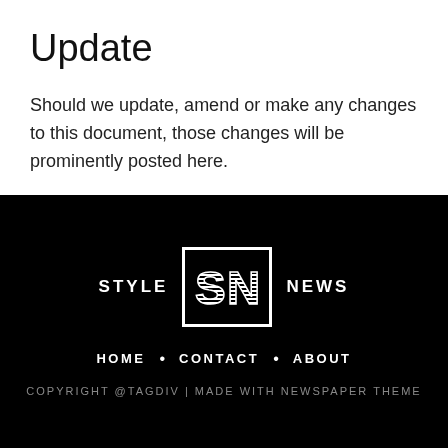Update
Should we update, amend or make any changes to this document, those changes will be prominently posted here.
[Figure (logo): Style News logo: white square border containing stylized 'SN' letters with horizontal line texture, flanked by 'STYLE' on the left and 'NEWS' on the right in bold uppercase white text on black background.]
HOME • CONTACT • ABOUT
COPYRIGHT @TAGDIV | MADE WITH NEWSPAPER THEME